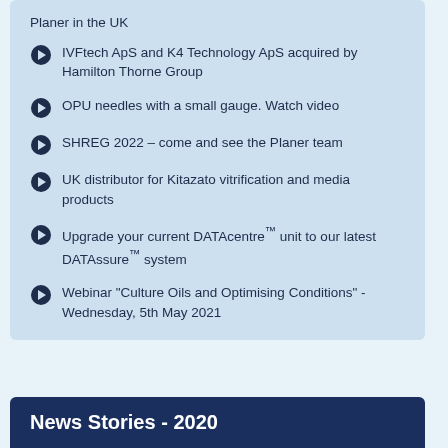Planer in the UK
IVFtech ApS and K4 Technology ApS acquired by Hamilton Thorne Group
OPU needles with a small gauge. Watch video
SHREG 2022 – come and see the Planer team
UK distributor for Kitazato vitrification and media products
Upgrade your current DATAcentre™ unit to our latest DATAssure™ system
Webinar "Culture Oils and Optimising Conditions" - Wednesday, 5th May 2021
News Stories - 2020